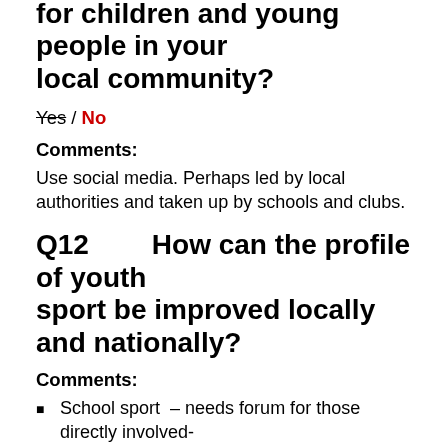for children and young people in your local community?
Yes / No
Comments:
Use social media. Perhaps led by local authorities and taken up by schools and clubs.
Q12   How can the profile of youth sport be improved locally and nationally?
Comments:
School sport – needs forum for those directly involved- locally and nationally